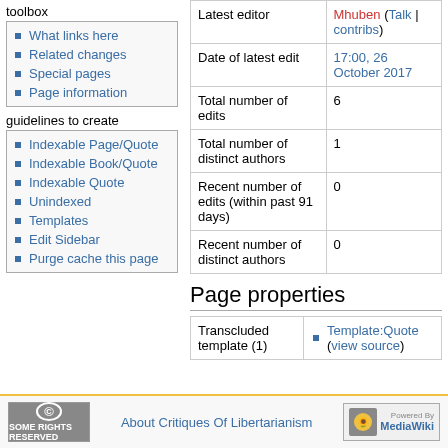toolbox
What links here
Related changes
Special pages
Page information
guidelines to create
Indexable Page/Quote
Indexable Book/Quote
Indexable Quote
Unindexed
Templates
Edit Sidebar
Purge cache this page
|  |  |
| --- | --- |
| Latest editor | Mhuben (Talk | contribs) |
| Date of latest edit | 17:00, 26 October 2017 |
| Total number of edits | 6 |
| Total number of distinct authors | 1 |
| Recent number of edits (within past 91 days) | 0 |
| Recent number of distinct authors | 0 |
Page properties
|  |  |
| --- | --- |
| Transcluded template (1) | Template:Quote (view source) |
About Critiques Of Libertarianism